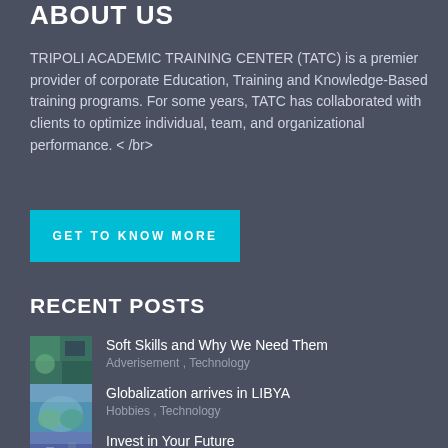ABOUT US
TRIPOLI ACADEMIC TRAINING CENTER (TATC) is a premier provider of corporate Education, Training and Knowledge-Based training programs. For some years, TATC has collaborated with clients to optimize individual, team, and organizational performance. < /br>
GET TO KNOW MORE
RECENT POSTS
Soft Skills and Why We Need Them
Adverisement , Technology
Globalization arrives in LIBYA
Hobbies , Technology
Invest in Your Future
Adverisement